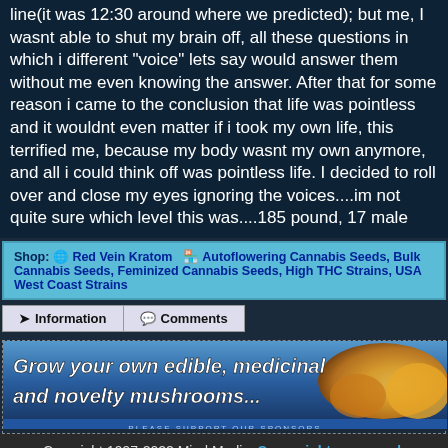line(it was 12:30 around where we predicted); but me, I wasnt able to shut my brain off, all these questions in which i different "voice" lets say would answer them without me even knowing the answer. After that for some reason i came to the conclusion that life was pointless and it wouldnt even matter if i took my own life, this terrified me, because my body wasnt my own anymore, and all i could think off was pointless life. I decided to roll over and close my eyes ignoring the voices....im not quite sure which level this was....185 pound, 17 male
Shop: 🌐 Red Vein Kratom  🏪 Autoflowering Cannabis Seeds, Bulk Cannabis Seeds, Feminized Cannabis Seeds, High THC Strains, USA West Coast Strains
Information | Comments
[Figure (infographic): Advertisement banner: Grow your own edible, medicinal and novelty mushrooms... with mushroom image on right. Please support our sponsors text below.]
Copyright 1997-2022 Mind Media. Some rights reserved.
Generated in 0.019 seconds spending 0.003 seconds on 2 queries.